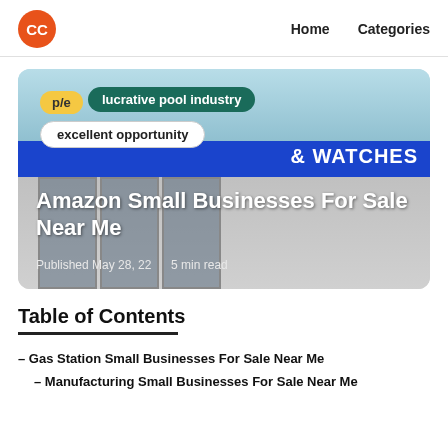CC | Home  Categories
[Figure (photo): Storefront photo with overlay tags: p/e, lucrative pool industry, excellent opportunity, & WATCHES. Article title: Amazon Small Businesses For Sale Near Me. Published May 28, 22 | 5 min read]
Table of Contents
– Gas Station Small Businesses For Sale Near Me
– Manufacturing Small Businesses For Sale Near Me